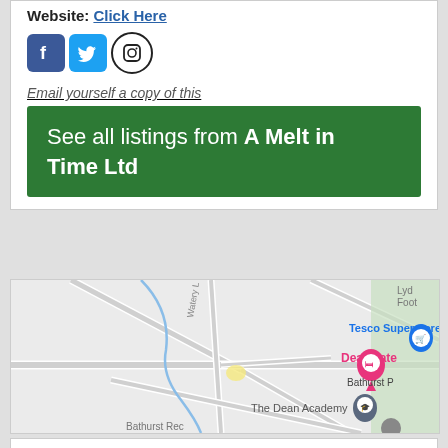Website: Click Here
[Figure (infographic): Social media icons: Facebook (blue square with F), Twitter (blue bird icon), Instagram (camera outline circle)]
Email yourself a copy of this
See all listings from A Melt in Time Ltd
[Figure (map): Google Maps view showing Tesco Superstore, DeanGate, The Dean Academy, Bathurst P, Watery Lane, Lydney Foot area]